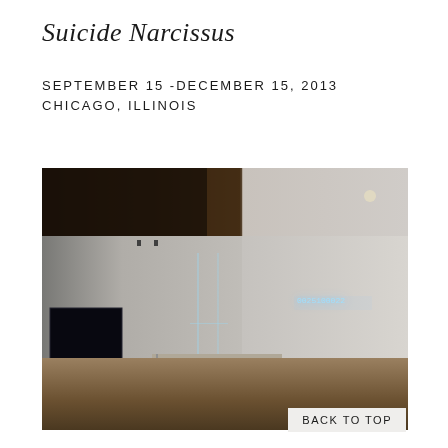Suicide Narcissus
SEPTEMBER 15 -DECEMBER 15, 2013
CHICAGO, ILLINOIS
[Figure (photo): Gallery interior showing a minimalist installation with glass panels on a metal table structure, a dark monitor/screen on the left, a glowing blue-white neon text artwork on the right wall, track lighting on ceiling, and hardwood floor.]
BACK TO TOP